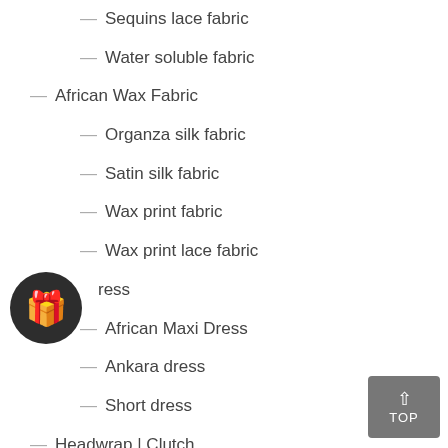— Sequins lace fabric
— Water soluble fabric
— African Wax Fabric
— Organza silk fabric
— Satin silk fabric
— Wax print fabric
— Wax print lace fabric
— dress
— African Maxi Dress
— Ankara dress
— Short dress
— Headwrap | Clutch
— African Headwrap / Gele
— Luxury crystal clutches